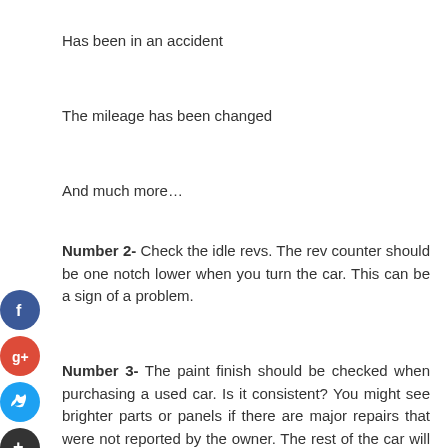Has been in an accident
The mileage has been changed
And much more…
Number 2- Check the idle revs. The rev counter should be one notch lower when you turn the car. This can be a sign of a problem.
Number 3- The paint finish should be checked when purchasing a used car. Is it consistent? You might see brighter parts or panels if there are major repairs that were not reported by the owner. The rest of the car will be a consistent, faded color. It is important to ensure that all panels are equally